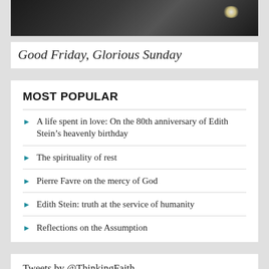[Figure (photo): Dark photograph showing lights, partially cropped at top]
Good Friday, Glorious Sunday
MOST POPULAR
A life spent in love: On the 80th anniversary of Edith Stein's heavenly birthday
The spirituality of rest
Pierre Favre on the mercy of God
Edith Stein: truth at the service of humanity
Reflections on the Assumption
Tweets by @ThinkingFaith